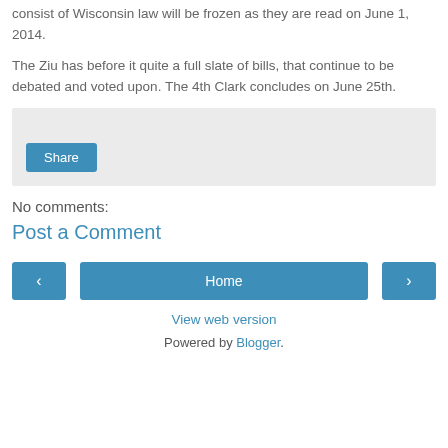consist of Wisconsin law will be frozen as they are read on June 1, 2014.
The Ziu has before it quite a full slate of bills, that continue to be debated and voted upon. The 4th Clark concludes on June 25th.
[Figure (other): Gray share box with a blue Share button]
No comments:
Post a Comment
[Figure (other): Navigation bar with left arrow, Home button, and right arrow]
View web version
Powered by Blogger.